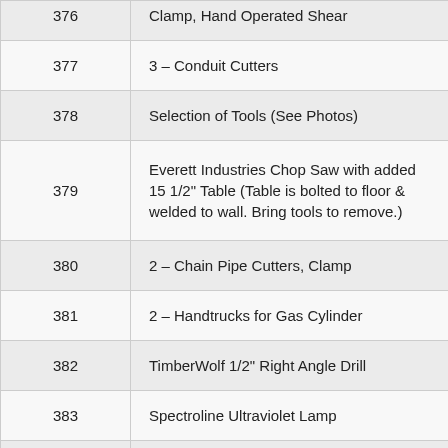| Lot # | Description |
| --- | --- |
| 376 | Clamp, Hand Operated Shear |
| 377 | 3 – Conduit Cutters |
| 378 | Selection of Tools (See Photos) |
| 379 | Everett Industries Chop Saw with added 15 1/2" Table (Table is bolted to floor & welded to wall. Bring tools to remove.) |
| 380 | 2 – Chain Pipe Cutters, Clamp |
| 381 | 2 – Handtrucks for Gas Cylinder |
| 382 | TimberWolf 1/2" Right Angle Drill |
| 383 | Spectroline Ultraviolet Lamp |